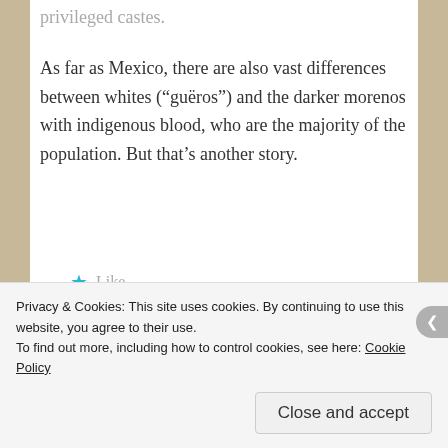privileged castes.
As far as Mexico, there are also vast differences between whites (“guëros”) and the darker morenos with indigenous blood, who are the majority of the population. But that’s another story.
★ Like
Reply
[Figure (screenshot): Advertisement banner image with blue gradient background and pink bar element]
Privacy & Cookies: This site uses cookies. By continuing to use this website, you agree to their use.
To find out more, including how to control cookies, see here: Cookie Policy
Close and accept